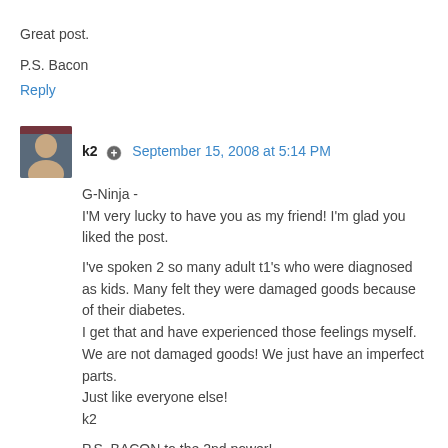Great post.
P.S. Bacon
Reply
k2   September 15, 2008 at 5:14 PM
G-Ninja -
I'M very lucky to have you as my friend! I'm glad you liked the post.

I've spoken 2 so many adult t1's who were diagnosed as kids. Many felt they were damaged goods because of their diabetes.
I get that and have experienced those feelings myself.
We are not damaged goods! We just have an imperfect parts.
Just like everyone else!
k2

P.S. BACON to the 2nd power!